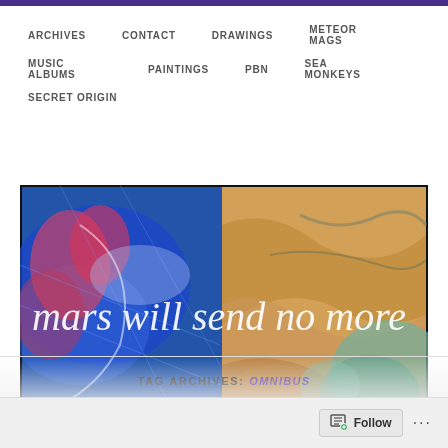ARCHIVES   CONTACT   DRAWINGS   METEOR MAGS   MUSIC ALBUMS   PAINTINGS   PBN   SEA MONKEYS   SECRET ORIGIN
[Figure (illustration): Banner image for 'mars will send no more' website. Left half shows a blue abstract painting with a figure, right half shows an orange/teal crumpled texture painting. White italic serif text reads 'mars will send no more' overlaid across both halves.]
TAG ARCHIVES: OMNIBUS
Follow ...